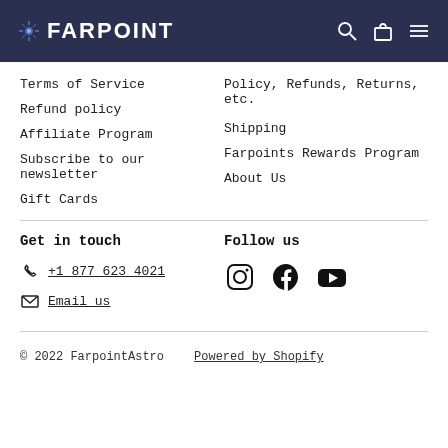FARPOINT
Terms of Service
Refund policy
Affiliate Program
Subscribe to our newsletter
Gift Cards
Policy, Refunds, Returns, etc.
Shipping
Farpoints Rewards Program
About Us
Get in touch
+1 877 623 4021
Email us
Follow us
[Figure (illustration): Social media icons: Instagram, Facebook, YouTube]
© 2022 FarpointAstro   Powered by Shopify